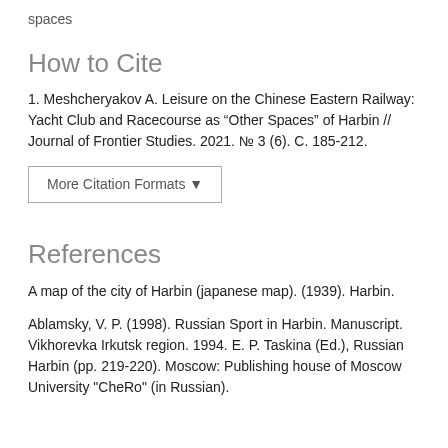spaces
How to Cite
1. Meshcheryakov A. Leisure on the Chinese Eastern Railway: Yacht Club and Racecourse as “Other Spaces” of Harbin // Journal of Frontier Studies. 2021. № 3 (6). C. 185-212.
More Citation Formats ▾
References
A map of the city of Harbin (japanese map). (1939). Harbin.
Ablamsky, V. P. (1998). Russian Sport in Harbin. Manuscript. Vikhorevka Irkutsk region. 1994. E. P. Taskina (Ed.), Russian Harbin (pp. 219-220). Moscow: Publishing house of Moscow University "CheRo" (in Russian).